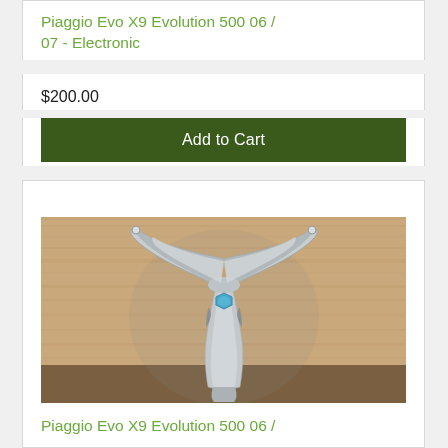Piaggio Evo X9 Evolution 500 06 / 07 - Electronic
$200.00
Add to Cart
[Figure (photo): A silver scooter body panel part (front fairing/cover) shaped like a Y or bird with a blue hexagonal emblem in the center, photographed on a brown cork/wood surface background.]
Piaggio Evo X9 Evolution 500 06 /